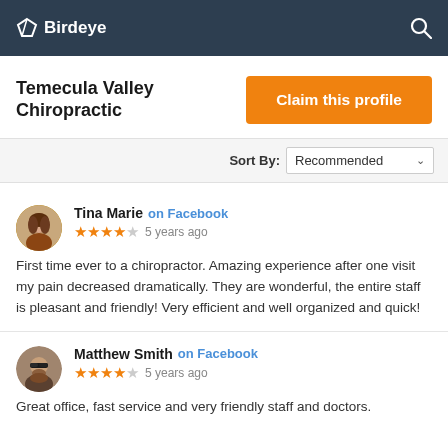Birdeye
Temecula Valley Chiropractic
Claim this profile
Sort By: Recommended
Tina Marie on Facebook ★★★★★ 5 years ago
First time ever to a chiropractor. Amazing experience after one visit my pain decreased dramatically. They are wonderful, the entire staff is pleasant and friendly! Very efficient and well organized and quick!
Matthew Smith on Facebook ★★★★★ 5 years ago
Great office, fast service and very friendly staff and doctors.